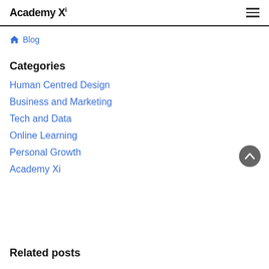Academy Xi
🏠 Blog
Categories
Human Centred Design
Business and Marketing
Tech and Data
Online Learning
Personal Growth
Academy Xi
Related posts